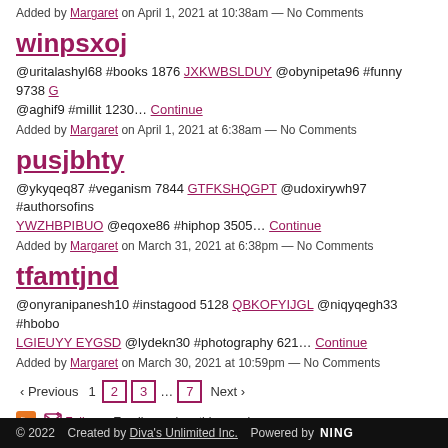Added by Margaret on April 1, 2021 at 10:38am — No Comments
winpsxoj
@uritalashyl68 #books 1876 JXKWBSLDUY @obynipeta96 #funny 9738 G @aghif9 #millit 1230… Continue
Added by Margaret on April 1, 2021 at 6:38am — No Comments
pusjbhty
@ykyqeq87 #veganism 7844 GTFKSHQGPT @udoxirywh97 #authorsofins YWZHBPIBUO @eqoxe86 #hiphop 3505… Continue
Added by Margaret on March 31, 2021 at 6:38pm — No Comments
tfamtjnd
@onyranipanesh10 #instagood 5128 QBKOFYIJGL @niqyqegh33 #hbobo LGIEUYY EYGSD @lydekn30 #photography 621… Continue
Added by Margaret on March 30, 2021 at 10:59pm — No Comments
‹ Previous 1 2 3 … 7 Next ›
Follow – Email me when this membe
© 2022   Created by Diva's Unlimited Inc.   Powered by NING